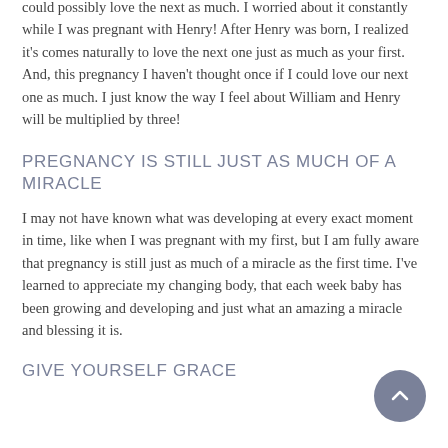could possibly love the next as much. I worried about it constantly while I was pregnant with Henry! After Henry was born, I realized it's comes naturally to love the next one just as much as your first. And, this pregnancy I haven't thought once if I could love our next one as much. I just know the way I feel about William and Henry will be multiplied by three!
PREGNANCY IS STILL JUST AS MUCH OF A MIRACLE
I may not have known what was developing at every exact moment in time, like when I was pregnant with my first, but I am fully aware that pregnancy is still just as much of a miracle as the first time. I've learned to appreciate my changing body, that each week baby has been growing and developing and just what an amazing a miracle and blessing it is.
GIVE YOURSELF GRACE